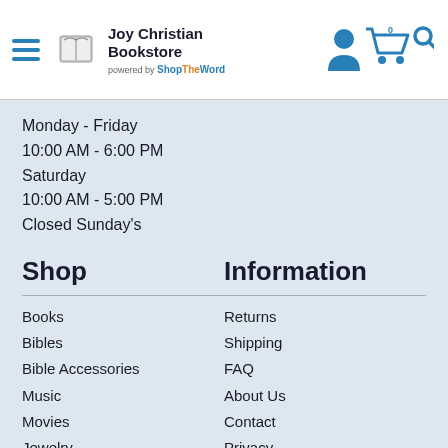Joy Christian Bookstore — powered by ShopTheWord
Monday - Friday
10:00 AM - 6:00 PM
Saturday
10:00 AM - 5:00 PM
Closed Sunday's
Shop
Books
Bibles
Bible Accessories
Music
Movies
Jewelry
Church Supplies
Clothing & Apparel
Information
Returns
Shipping
FAQ
About Us
Contact
Privacy
Terms & Conditions
Cancellations